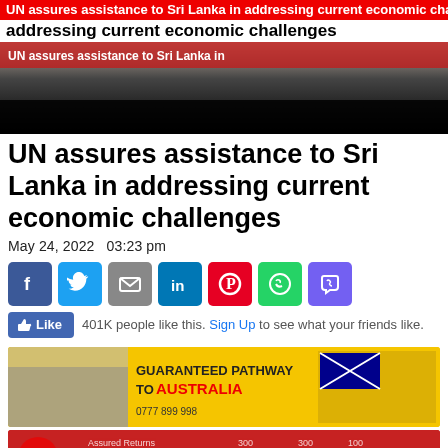UN assures assistance to Sri Lanka in addressing current economic challenges
[Figure (photo): Hero image of the news article showing people at an official event, with a red banner overlay reading 'UN assures assistance to Sri Lanka in addressing current economic challenges']
UN assures assistance to Sri Lanka in addressing current economic challenges
May 24, 2022   03:23 pm
[Figure (infographic): Social media share buttons: Facebook (blue), Twitter (cyan), Email (gray), LinkedIn (blue), Pinterest (red), WhatsApp (green), Viber (purple)]
401K people like this. Sign Up to see what your friends like.
[Figure (photo): Advertisement banner: Guaranteed Pathway to Australia - Nawaloka College of Higher Studies, 0777 899 998]
[Figure (photo): Advertisement banner: Airtel Unlimited]